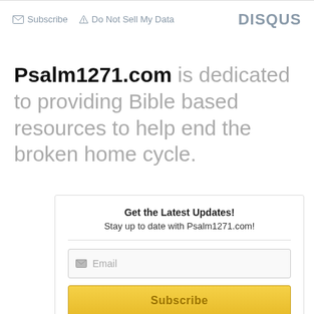Subscribe  Do Not Sell My Data  DISQUS
Psalm1271.com is dedicated to providing Bible based resources to help end the broken home cycle.
Get the Latest Updates!
Stay up to date with Psalm1271.com!
Email
Subscribe